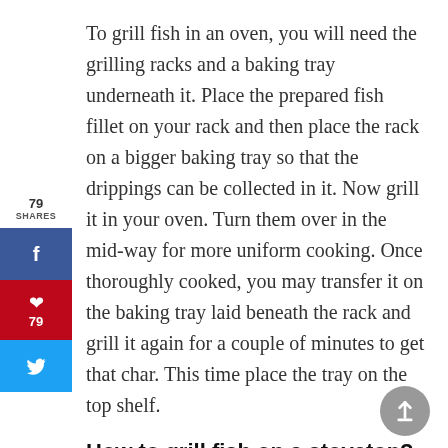To grill fish in an oven, you will need the grilling racks and a baking tray underneath it. Place the prepared fish fillet on your rack and then place the rack on a bigger baking tray so that the drippings can be collected in it. Now grill it in your oven. Turn them over in the mid-way for more uniform cooking. Once thoroughly cooked, you may transfer it on the baking tray laid beneath the rack and grill it again for a couple of minutes to get that char. This time place the tray on the top shelf.
How to grill fish on a stovetop?
Heat your grilling pan and melt a knob of